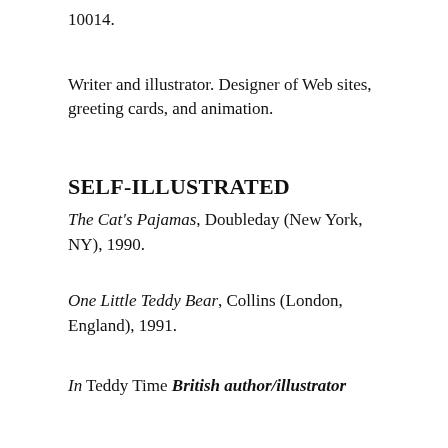10014.
Writer and illustrator. Designer of Web sites, greeting cards, and animation.
SELF-ILLUSTRATED
The Cat's Pajamas, Doubleday (New York, NY), 1990.
One Little Teddy Bear, Collins (London, England), 1991.
In Teddy Time British author/illustrator